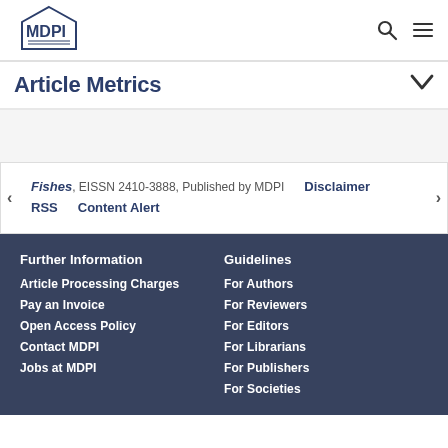MDPI logo with search and menu icons
Article Metrics
Fishes, EISSN 2410-3888, Published by MDPI   Disclaimer   RSS   Content Alert
Further Information
Article Processing Charges
Pay an Invoice
Open Access Policy
Contact MDPI
Jobs at MDPI
Guidelines
For Authors
For Reviewers
For Editors
For Librarians
For Publishers
For Societies